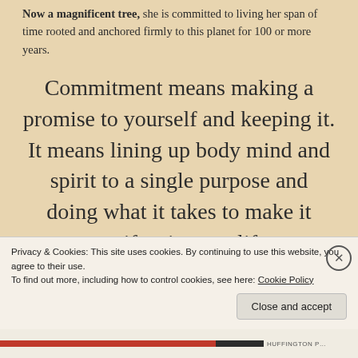Now a magnificent tree, she is committed to living her span of time rooted and anchored firmly to this planet for 100 or more years.
Commitment means making a promise to yourself and keeping it. It means lining up body mind and spirit to a single purpose and doing what it takes to make it manifest in your life.
Commitment means reviewing and renewing the
Privacy & Cookies: This site uses cookies. By continuing to use this website, you agree to their use. To find out more, including how to control cookies, see here: Cookie Policy
Close and accept